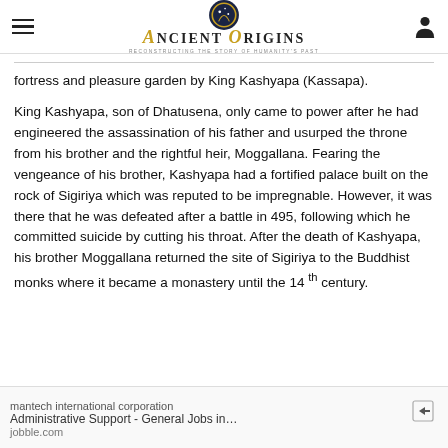Ancient Origins — Reconstructing the story of humanity's past
fortress and pleasure garden by King Kashyapa (Kassapa).
King Kashyapa, son of Dhatusena, only came to power after he had engineered the assassination of his father and usurped the throne from his brother and the rightful heir, Moggallana. Fearing the vengeance of his brother, Kashyapa had a fortified palace built on the rock of Sigiriya which was reputed to be impregnable. However, it was there that he was defeated after a battle in 495, following which he committed suicide by cutting his throat. After the death of Kashyapa, his brother Moggallana returned the site of Sigiriya to the Buddhist monks where it became a monastery until the 14 th century.
mantech international corporation
Administrative Support - General Jobs in…
jobble.com